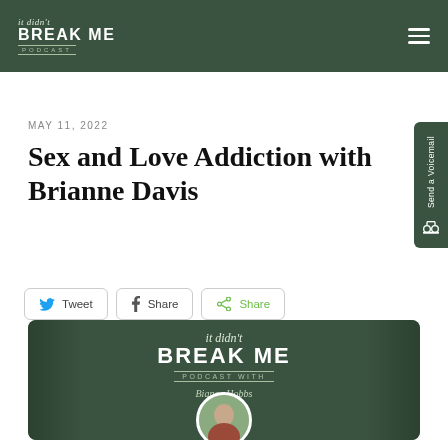it didn't BREAK ME PODCAST
MAY 11, 2022
Sex and Love Addiction with Brianne Davis
Tweet  Share  Share
[Figure (logo): It Didn't Break Me Podcast logo with host photo, dark green background with white text and circular portrait of host at bottom center]